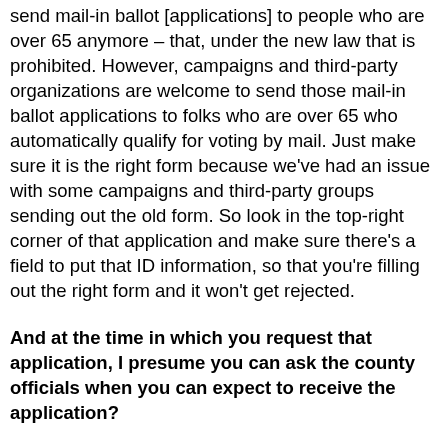send mail-in ballot [applications] to people who are over 65 anymore – that, under the new law that is prohibited. However, campaigns and third-party organizations are welcome to send those mail-in ballot applications to folks who are over 65 who automatically qualify for voting by mail. Just make sure it is the right form because we've had an issue with some campaigns and third-party groups sending out the old form. So look in the top-right corner of that application and make sure there's a field to put that ID information, so that you're filling out the right form and it won't get rejected.
And at the time in which you request that application, I presume you can ask the county officials when you can expect to receive the application?